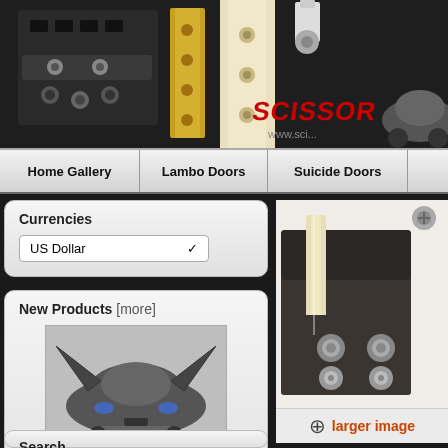[Figure (photo): Header banner showing black metal hinge/bracket hardware parts on left, gold/yellow metal hardware brackets in center, and a partial car image with 'Scissor' logo text and website URL on right side]
Home Gallery | Lambo Doors | Suicide Doors
Currencies
US Dollar
New Products  [more]
[Figure (photo): Car with gull wing / butterfly doors open, dark grey vehicle, front view]
TSX 04-08 GULL WING DOORS - BUTTERFLY DOORS
$699.99 USD
Search
[Figure (photo): Close-up of dark metal scissor door hinge mechanism with bolts and chrome hardware on white background]
larger image